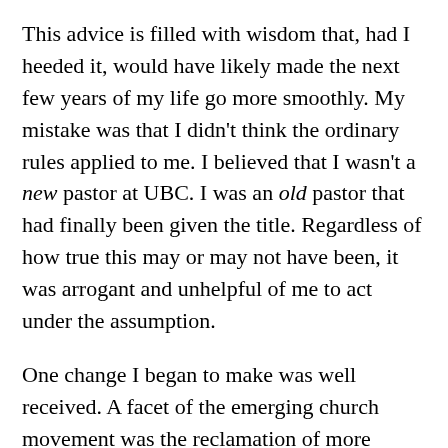This advice is filled with wisdom that, had I heeded it, would have likely made the next few years of my life go more smoothly. My mistake was that I didn't think the ordinary rules applied to me. I believed that I wasn't a new pastor at UBC. I was an old pastor that had finally been given the title. Regardless of how true this may or may not have been, it was arrogant and unhelpful of me to act under the assumption.
One change I began to make was well received. A facet of the emerging church movement was the reclamation of more ancient liturgical elements into corporate worship. At times in its